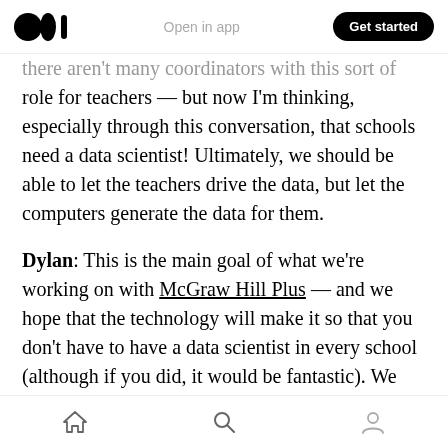Open in app | Get started
there aren't many coordinators with this sort of role for teachers — but now I'm thinking, especially through this conversation, that schools need a data scientist! Ultimately, we should be able to let the teachers drive the data, but let the computers generate the data for them.
Dylan: This is the main goal of what we're working on with McGraw Hill Plus — and we hope that the technology will make it so that you don't have to have a data scientist in every school (although if you did, it would be fantastic). We want to bring together data from
Home | Search | Profile